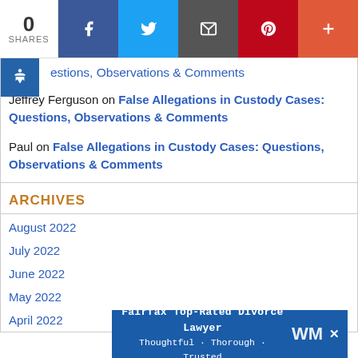[Figure (screenshot): Social share bar with 0 shares, Facebook, Twitter, Email, Pinterest, and plus buttons]
Questions, Observations & Comments (partial link, cut off at top)
Jeffrey Ferguson on False Allegations in Custody Cases: Questions, Observations & Comments
Paul on False Allegations in Custody Cases: Questions, Observations & Comments
ARCHIVES
August 2022
July 2022
June 2022
May 20...
April 2022
[Figure (screenshot): Advertisement banner: Fairfax Top-Rated Divorce Lawyer - Thoughtful · Thorough · Trusted with WM logo]